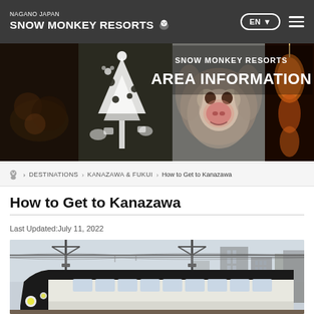NAGANO JAPAN SNOW MONKEY RESORTS — EN navigation
[Figure (photo): Hero banner with four photo panels: food/hot spring items, decorative Snow Monkey Resorts tree illustration, Japanese macaque monkey closeup, orange lantern decorations. Overlaid text: SNOW MONKEY RESORTS AREA INFORMATION]
🏠 > DESTINATIONS > KANAZAWA & FUKUI > How to Get to Kanazawa
How to Get to Kanazawa
Last Updated:July 11, 2022
[Figure (photo): A modern black and white bullet train (shinkansen/limited express) on tracks with overhead electrical wires, industrial buildings in background, clear sky.]